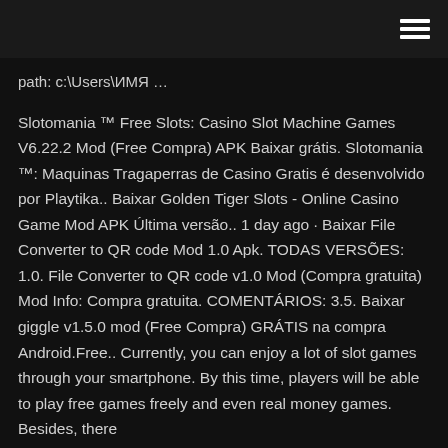☰ (hamburger menu icon)
path: c:\Users\ИМЯ …
Slotomania ™ Free Slots: Casino Slot Machine Games V6.22.2 Mod (Free Compra) APK Baixar grátis. Slotomania ™: Maquinas Tragaperras de Casino Gratis é desenvolvido por Playtika.. Baixar Golden Tiger Slots - Online Casino Game Mod APK Última versão.. 1 day ago · Baixar File Converter to QR code Mod 1.0 Apk. TODAS VERSÕES: 1.0. File Converter to QR code v1.0 Mod (Compra gratuita) Mod Info: Compra gratuita. COMENTÁRIOS: 3.5. Baixar giggle v1.5.0 mod (Free Compra) GRÁTIS na compra Android.Free.. Currently, you can enjoy a lot of slot games through your smartphone. By this time, players will be able to play free games freely and even real money games. Besides, there